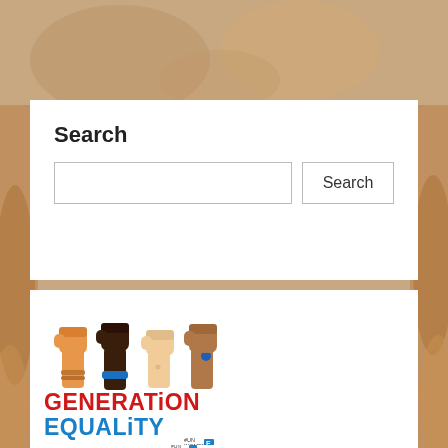[Figure (photo): Background photo of people's hands and arms on a wooden surface, blurred]
Search
[Figure (illustration): Generation Equality - four raised fists of diverse skin tones with a blue wristband, above text reading GENERATION EQUALITY in red and blue block letters, with #UN Women logo]